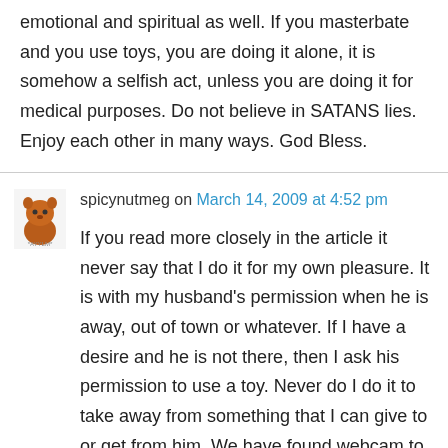emotional and spiritual as well. If you masterbate and you use toys, you are doing it alone, it is somehow a selfish act, unless you are doing it for medical purposes. Do not believe in SATANS lies. Enjoy each other in many ways. God Bless.
spicynutmeg on March 14, 2009 at 4:52 pm
If you read more closely in the article it never say that I do it for my own pleasure. It is with my husband's permission when he is away, out of town or whatever. If I have a desire and he is not there, then I ask his permission to use a toy. Never do I do it to take away from something that I can give to or get from him. We have found webcam to be a wonderful way we can share